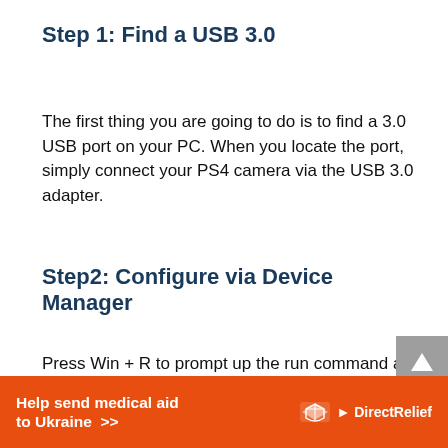Step 1: Find a USB 3.0
The first thing you are going to do is to find a 3.0 USB port on your PC. When you locate the port, simply connect your PS4 camera via the USB 3.0 adapter.
Step2: Configure via Device Manager
Press Win + R to prompt up the run command and type “devmgmt.msc” to launch Device Manager. Then what you need to do is to go to Device Manager and click on USB Boot
[Figure (other): Help send medical aid to Ukraine >> DirectRelief banner advertisement]
[Figure (other): Grey scroll-to-top button with upward arrow]